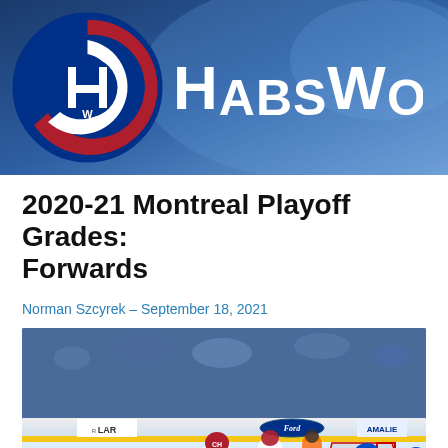[Figure (logo): HabsWorld website header banner with Montreal Canadiens CHW logo on left and 'HabsWorld.' site name text on right, blue gradient background]
2020-21 Montreal Playoff Grades: Forwards
Norman Szcyrek – September 18, 2021
[Figure (photo): Ice hockey game action photo showing Montreal Canadiens player number 14 (Suzuki) in front of Tampa Bay Lightning goalie, with other players around the net. Players in blue Lightning uniforms and white/red Canadiens uniforms. Amalie Arena signage visible in background with crowd.]